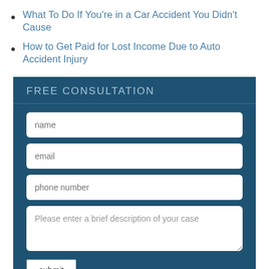What To Do If You’re in a Car Accident You Didn’t Cause
How to Get Paid for Lost Income Due to Auto Accident Injury
FREE CONSULTATION
name
email
phone number
Please enter a brief description of your case
submit